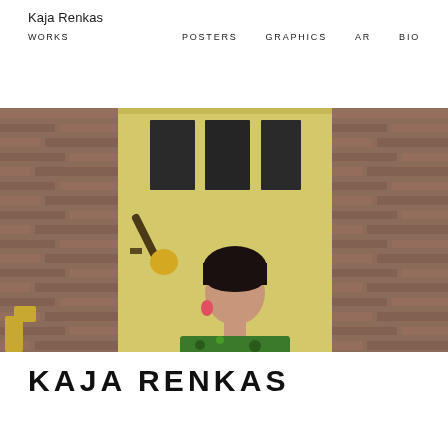Kaja Renkas
WORKS    POSTERS    GRAPHICS    AR    BIO
[Figure (photo): A woman with dark hair and pink earrings wearing a green floral top, sitting in front of a pale yellow door with dark windows, flanked by red brick walls.]
KAJA RENKAS